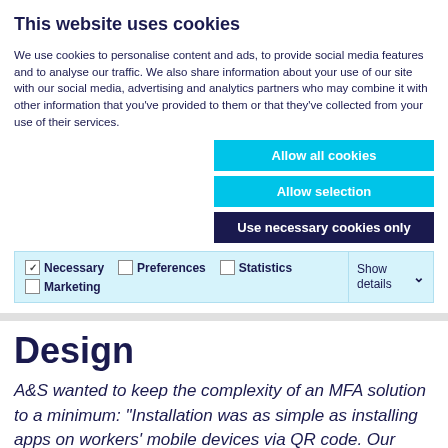This website uses cookies
We use cookies to personalise content and ads, to provide social media features and to analyse our traffic. We also share information about your use of our site with our social media, advertising and analytics partners who may combine it with other information that you've provided to them or that they've collected from your use of their services.
Allow all cookies
Allow selection
Use necessary cookies only
| ✓ Necessary | ☐ Preferences | ☐ Statistics | Show details ∨ |
| ☐ Marketing |  |  |  |
Design
A&S wanted to keep the complexity of an MFA solution to a minimum: "Installation was as simple as installing apps on workers' mobile devices via QR code. Our workers need speedy and secure access to our network and to the data it carries.